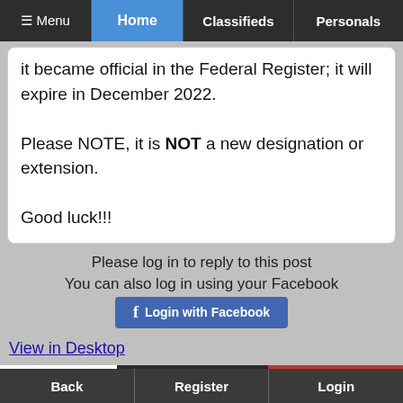≡ Menu | Home | Classifieds | Personals
it became official in the Federal Register; it will expire in December 2022.

Please NOTE, it is NOT a new designation or extension.

Good luck!!!
Please log in to reply to this post
You can also log in using your Facebook
[Figure (screenshot): Facebook 'Login with Facebook' button with Facebook logo icon]
View in Desktop
[Figure (logo): eXp realty logo and advertisement banner with 'Thinking of buying' text]
Back | Register | Login